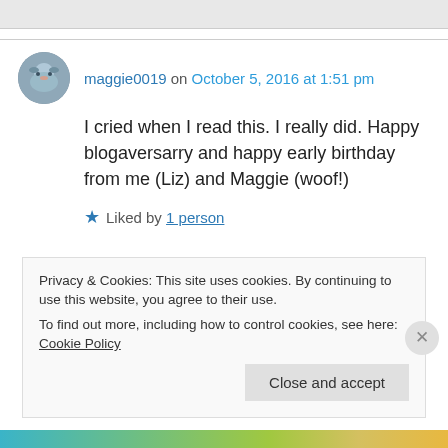maggie0019 on October 5, 2016 at 1:51 pm
I cried when I read this. I really did. Happy blogaversarry and happy early birthday from me (Liz) and Maggie (woof!)
★ Liked by 1 person
Privacy & Cookies: This site uses cookies. By continuing to use this website, you agree to their use.
To find out more, including how to control cookies, see here: Cookie Policy
Close and accept